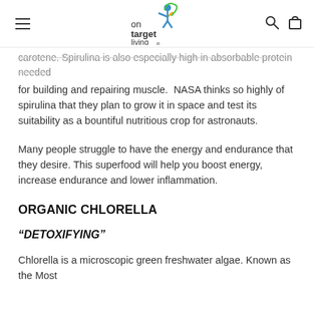on target living
carotene. Spirulina is also especially high in absorbable protein needed for building and repairing muscle.  NASA thinks so highly of spirulina that they plan to grow it in space and test its suitability as a bountiful nutritious crop for astronauts.
Many people struggle to have the energy and endurance that they desire. This superfood will help you boost energy, increase endurance and lower inflammation.
ORGANIC CHLORELLA
“DETOXIFYING”
Chlorella is a microscopic green freshwater algae. Known as the Most